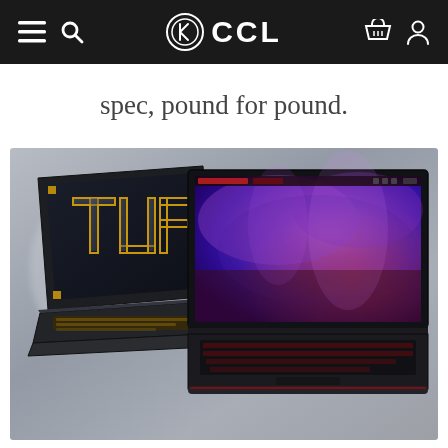CCL (navigation bar with menu, search, basket, account icons)
spec, pound for pound.
[Figure (photo): Two gaming laptops displayed against a blurred grey background. On the left is an ASUS TUF gaming laptop shown at an angle with a dark screen displaying the TUF logo in gold outlined letters and a gold/yellow backlit keyboard. On the right is an MSI gaming laptop shown front-facing with a vivid purple and red fantasy game wallpaper on the screen, red backlit keyboard, and MSI branding on the lid base.]